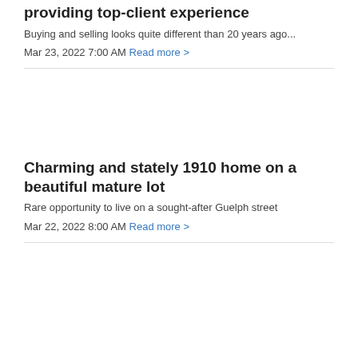providing top-client experience
Buying and selling looks quite different than 20 years ago...
Mar 23, 2022 7:00 AM Read more >
Charming and stately 1910 home on a beautiful mature lot
Rare opportunity to live on a sought-after Guelph street
Mar 22, 2022 8:00 AM Read more >